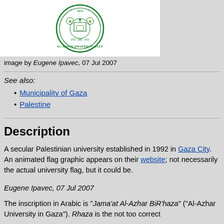[Figure (logo): Al-Azhar University-Gaza circular seal/logo in green on white background]
image by Eugene Ipavec, 07 Jul 2007
See also:
Municipality of Gaza
Palestine
Description
A secular Palestinian university established in 1992 in Gaza City. An animated flag graphic appears on their website; not necessarily the actual university flag, but it could be.
Eugene Ipavec, 07 Jul 2007
The inscription in Arabic is "Jama'at Al-Azhar BiR'haza" ("Al-Azhar University in Gaza"). Rhaza is the not too correct